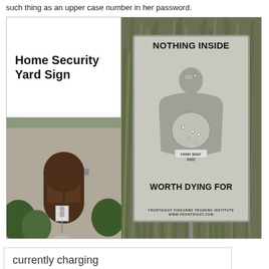such thing as an upper case number in her password.
[Figure (photo): A composite image showing a home security yard sign product. Left side: white box labeled 'Home Security Yard Sign' above a photo of a house front door entrance with the yard sign installed. Right side: a close-up of the sign against tall grass, featuring a shooting target silhouette with bullet holes. Sign text reads 'NOTHING INSIDE WORTH DYING FOR' and 'FRONTSIGHT FIREARMS TRAINING INSTITUTE'.]
currently charging